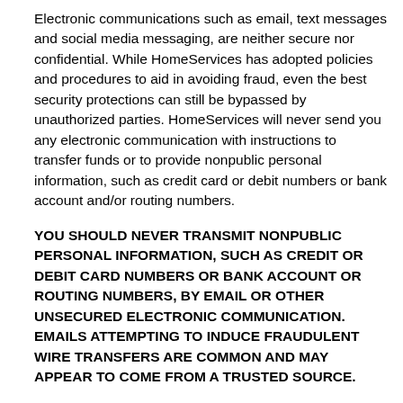Electronic communications such as email, text messages and social media messaging, are neither secure nor confidential. While HomeServices has adopted policies and procedures to aid in avoiding fraud, even the best security protections can still be bypassed by unauthorized parties. HomeServices will never send you any electronic communication with instructions to transfer funds or to provide nonpublic personal information, such as credit card or debit numbers or bank account and/or routing numbers.
YOU SHOULD NEVER TRANSMIT NONPUBLIC PERSONAL INFORMATION, SUCH AS CREDIT OR DEBIT CARD NUMBERS OR BANK ACCOUNT OR ROUTING NUMBERS, BY EMAIL OR OTHER UNSECURED ELECTRONIC COMMUNICATION. EMAILS ATTEMPTING TO INDUCE FRAUDULENT WIRE TRANSFERS ARE COMMON AND MAY APPEAR TO COME FROM A TRUSTED SOURCE.